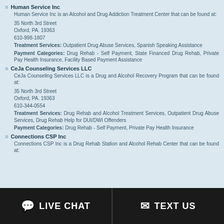Human Service Inc
Human Service Inc is an Alcohol and Drug Addiction Treatment Center that can be found at:
35 North 3rd Street
Oxford, PA. 19363
610-998-1807
Treatment Services: Outpatient Drug Abuse Services, Spanish Speaking Assistance
Payment Categories: Drug Rehab - Self Payment, State Financed Drug Rehab, Private Pay Health Insurance, Facility Based Payment Assistance
CeJa Counseling Services LLC
CeJa Counseling Services LLC is a Drug and Alcohol Recovery Program that can be found at:
35 North 3rd Street
Oxford, PA. 19363
610-344-0554
Treatment Services: Drug Rehab and Alcohol Treatment Services, Outpatient Drug Abuse Services, Drug Rehab Help for DUI/DWI Offenders
Payment Categories: Drug Rehab - Self Payment, Private Pay Health Insurance
Connections CSP Inc
Connections CSP Inc is a Drug Rehab Station and Alcohol Rehab Center that can be found at:
LIVE CHAT | TEXT US